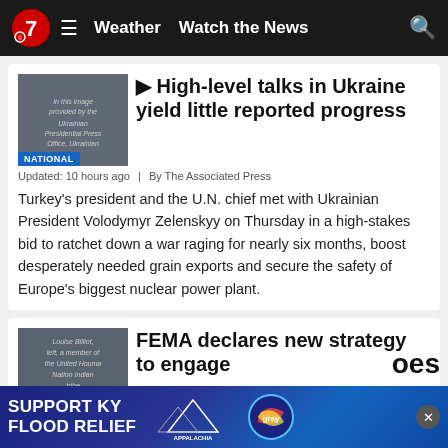7 Weather | Watch the News
[Figure (screenshot): Thumbnail image with NATIONAL label overlay showing Ukrainian Presidential Press Office image]
High-level talks in Ukraine yield little reported progress
Updated: 10 hours ago | By The Associated Press
Turkey's president and the U.N. chief met with Ukrainian President Volodymyr Zelenskyy on Thursday in a high-stakes bid to ratchet down a war raging for nearly six months, boost desperately needed grain exports and secure the safety of Europe's biggest nuclear power plant.
[Figure (screenshot): Thumbnail image with NATIONAL label overlay showing Louise Billiot member of United Houma Nation tribe]
FEMA declares new strategy to engage
[Figure (infographic): Ad banner: SUPPORT KY FLOOD RELIEF - Appalachia Rises - Gray logo]